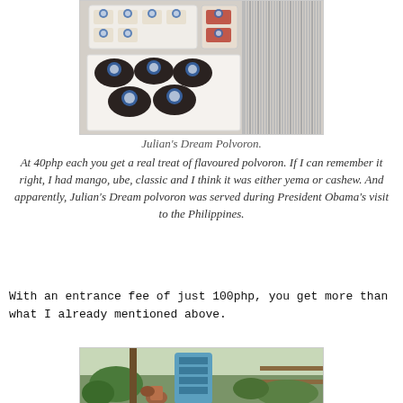[Figure (photo): Trays of Julian's Dream Polvoron with blue branded wrappers/labels, showing multiple flavours arranged on white trays in a display.]
Julian's Dream Polvoron.
At 40php each you get a real treat of flavoured polvoron. If I can remember it right, I had mango, ube, classic and I think it was either yema or cashew. And apparently, Julian's Dream polvoron was served during President Obama's visit to the Philippines.
With an entrance fee of just 100php, you get more than what I already mentioned above.
[Figure (photo): Outdoor garden area with a blue ceramic/mosaic decorative figure, terracotta pots, and green plants visible in the background.]